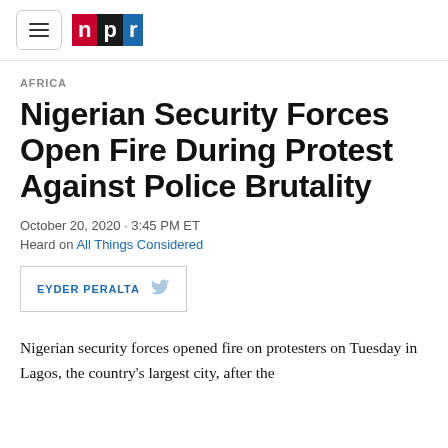NPR logo and navigation
AFRICA
Nigerian Security Forces Open Fire During Protest Against Police Brutality
October 20, 2020 · 3:45 PM ET
Heard on All Things Considered
EYDER PERALTA
Nigerian security forces opened fire on protesters on Tuesday in Lagos, the country's largest city, after the